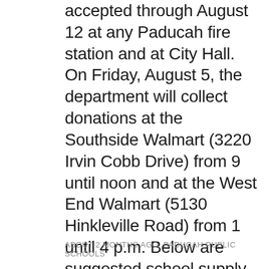accepted through August 12 at any Paducah fire station and at City Hall. On Friday, August 5, the department will collect donations at the Southside Walmart (3220 Irvin Cobb Drive) from 9 until noon and at the West End Walmart (5130 Hinkleville Road) from 1 until 4 p.m. Below are suggested school supply items: Yellow #2 Pencils, Erasers, Black or Blue Ink Pens Plastic School Box Plastic Pocket Folders Composition Notebooks Loose Leaf Notebook paper Spiral Notebooks Highlighters Graph Paper Protractor Three-ring binders Glue Sticks Divider Tabs Printer Paper Reams Flash Drives Backpacks Individually wrapped food including fruit snacks, tuna salad kits, peanut butter or cheese crackers, potato chips, applesauce and fruit cups, and granola bars
ABOUT 2 MONTHS AGO, PADUCAH PUBLIC SCHOOLS